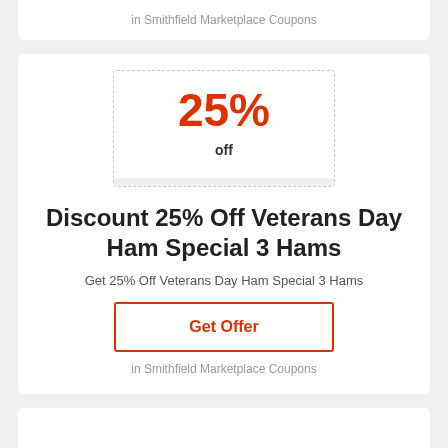in Smithfield Marketplace Coupons
[Figure (infographic): Coupon badge showing 25% off discount label with 'Sale' tag]
Discount 25% Off Veterans Day Ham Special 3 Hams
Get 25% Off Veterans Day Ham Special 3 Hams
Get Offer
in Smithfield Marketplace Coupons